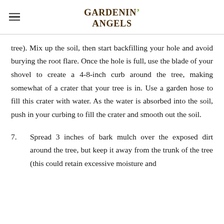Gardenin' Angels
tree). Mix up the soil, then start backfilling your hole and avoid burying the root flare. Once the hole is full, use the blade of your shovel to create a 4-8-inch curb around the tree, making somewhat of a crater that your tree is in. Use a garden hose to fill this crater with water. As the water is absorbed into the soil, push in your curbing to fill the crater and smooth out the soil.
7.      Spread 3 inches of bark mulch over the exposed dirt around the tree, but keep it away from the trunk of the tree (this could retain excessive moisture and